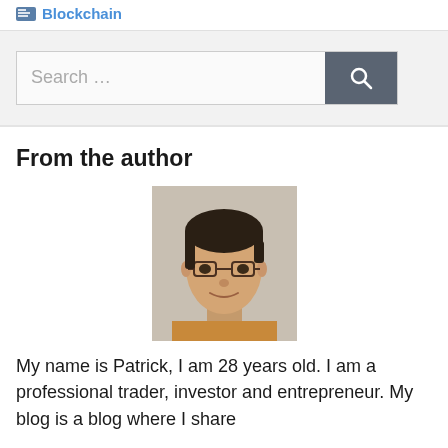Blockchain
Search …
From the author
[Figure (photo): Portrait photo of a young man named Patrick, approximately 28 years old, wearing glasses and a collared shirt, with short dark hair, smiling slightly against a light background.]
My name is Patrick, I am 28 years old. I am a professional trader, investor and entrepreneur. My blog is a blog where I share